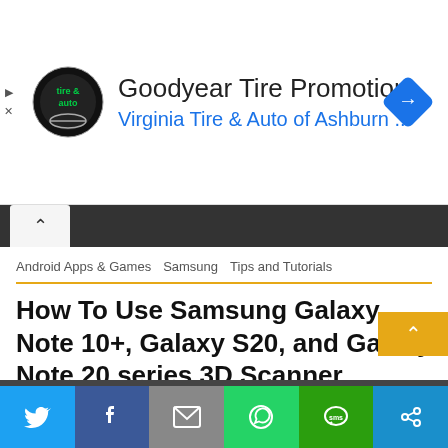[Figure (screenshot): Goodyear Tire Promotion ad banner with Virginia Tire & Auto of Ashburn logo and text, blue navigation arrow icon on right, small triangle and X icons on left]
[Figure (screenshot): Dark navigation scroll bar with light chevron-up button on left]
Android Apps & Games  Samsung  Tips and Tutorials
How To Use Samsung Galaxy Note 10+, Galaxy S20, and Galaxy Note 20 series 3D Scanner
2 years ago  Joel
Samsung Galaxy Note 10+ allows users to create fun 3D images by capturing an object using the 3D Time of...
[Figure (screenshot): Share bar with Twitter, Facebook, Email, WhatsApp, SMS, and other sharing icons in colored buttons]